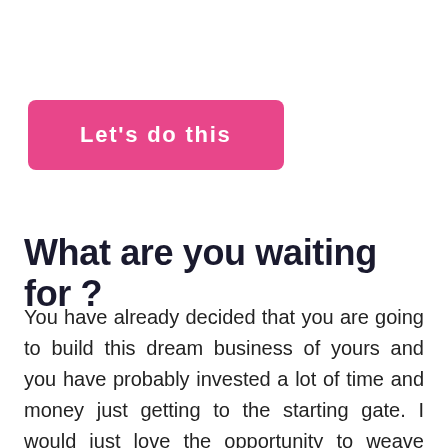Let's do this
What are you waiting for ?
You have already decided that you are going to build this dream business of yours and you have probably invested a lot of time and money just getting to the starting gate.  I would just love the opportunity to weave some magic with you and to make sure you succeed.  So come on in and let's make this happen.